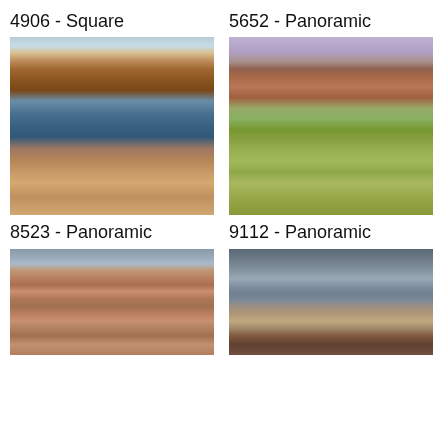4906 - Square
5652 - Panoramic
[Figure (photo): Aerial view of Horseshoe Bend with Colorado River curving around red rock formation]
[Figure (photo): Desert landscape with red rock formations, Joshua tree and saguaro cactus under purple sky]
8523 - Panoramic
9112 - Panoramic
[Figure (photo): Grand Canyon panoramic view with layered red rock under cloudy sky]
[Figure (photo): Stormy desert scene with dark clouds over red rock butte]